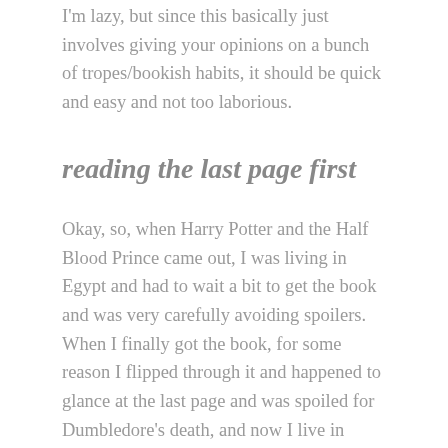I'm lazy, but since this basically just involves giving your opinions on a bunch of tropes/bookish habits, it should be quick and easy and not too laborious.
reading the last page first
Okay, so, when Harry Potter and the Half Blood Prince came out, I was living in Egypt and had to wait a bit to get the book and was very carefully avoiding spoilers. When I finally got the book, for some reason I flipped through it and happened to glance at the last page and was spoiled for Dumbledore's death, and now I live in terrible fear of glancing at the last page and being horribly spoiled, so uh, no, I definitely do not look at the last page. I also don't understand the point of this? Why would you look at the last page first??? Even if